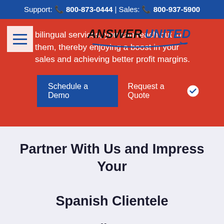Support: 📞 800-873-0444 | Sales: 📞 800-937-5900
bilingual services, you can reach out to them, thereby enjoying a boost in your sales and achieving better profit margins.
[Figure (logo): Answer United logo with italic bold text and swoosh underline]
Schedule a Demo
Request a Quote
Partner With Us and Impress Your Spanish Clientele
Call us at